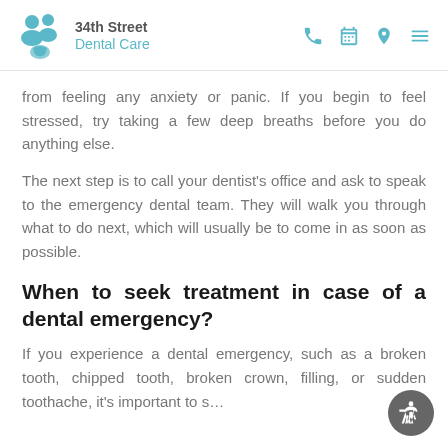34th Street Dental Care
from feeling any anxiety or panic. If you begin to feel stressed, try taking a few deep breaths before you do anything else.
The next step is to call your dentist's office and ask to speak to the emergency dental team. They will walk you through what to do next, which will usually be to come in as soon as possible.
When to seek treatment in case of a dental emergency?
If you experience a dental emergency, such as a broken tooth, chipped tooth, broken crown, filling, or sudden toothache, it's important to s…